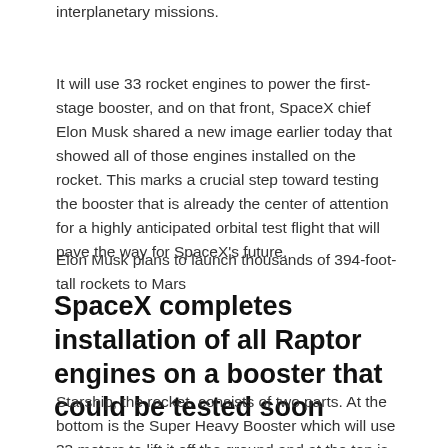interplanetary missions.
It will use 33 rocket engines to power the first-stage booster, and on that front, SpaceX chief Elon Musk shared a new image earlier today that showed all of those engines installed on the rocket. This marks a crucial step toward testing the booster that is already the center of attention for a highly anticipated orbital test flight that will pave the way for SpaceX’s future.
Elon Musk plans to launch thousands of 394-foot-tall rockets to Mars
SpaceX completes installation of all Raptor engines on a booster that could be tested soon
Starship, the rocket, consists of two parts. At the bottom is the Super Heavy Booster which will use 33 motors to lift it off the ground and at the top is the Starship spacecraft which will separate once the